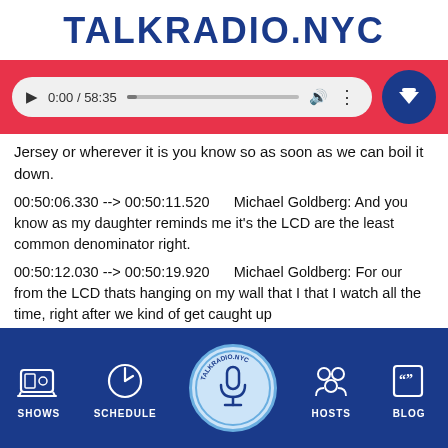TALKRADIO.NYC
[Figure (screenshot): Audio player bar showing play button, time 0:00 / 58:35, progress bar, volume icon, menu dots, and download button on red background]
Jersey or wherever it is you know so as soon as we can boil it down.
00:50:06.330 --> 00:50:11.520      Michael Goldberg: And you know as my daughter reminds me it's the LCD are the least common denominator right.
00:50:12.030 --> 00:50:19.920      Michael Goldberg: For our from the LCD thats hanging on my wall that I that I watch all the time, right after we kind of get caught up
SHOWS  SCHEDULE  TALKRADIO.NYC  HOSTS  BLOG